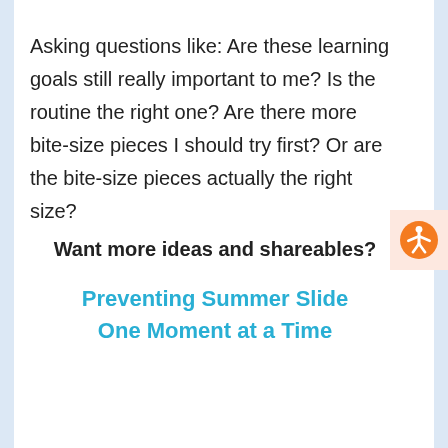Asking questions like: Are these learning goals still really important to me?  Is the routine the right one? Are there more bite-size pieces I should try first?  Or are the bite-size pieces actually the right size?
Want more ideas and shareables?
Preventing Summer Slide One Moment at a Time